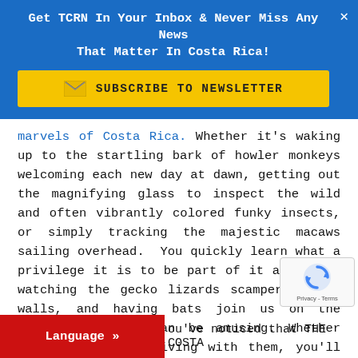Get TCRN In Your Inbox & Never Miss Any News That Matter In Costa Rica!
[Figure (other): Yellow subscribe to newsletter button with envelope icon]
marvels of Costa Rica. Whether it's waking up to the startling bark of howler monkeys welcoming each new day at dawn, getting out the magnifying glass to inspect the wild and often vibrantly colored funky insects, or simply tracking the majestic macaws sailing overhead.  You quickly learn what a privilege it is to be part of it all. Even watching the gecko lizards scamper up our walls, and having bats join us on the terrace at dusk can be amusing. Whether just visiting or living with them, you'll definitely gain a healthy respect for a whole range of new critters in this exceptional country!
ou've noticed that THE COSTA ... y intriguing articles on a wide variety
[Figure (other): reCAPTCHA badge with recycle-arrow icon and Privacy - Terms text]